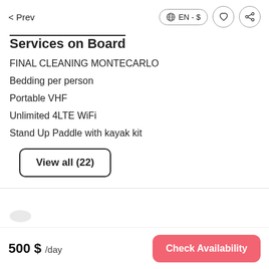< Prev   EN - $  ♡  share
Services on Board
FINAL CLEANING MONTECARLO
Bedding per person
Portable VHF
Unlimited 4LTE WiFi
Stand Up Paddle with kayak kit
View all (22)
500 $ /day   Check Availability